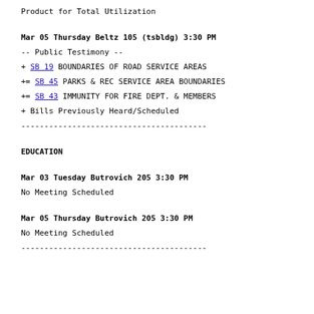Product for Total Utilization
Mar 05 Thursday Beltz 105 (tsbldg) 3:30 PM
-- Public Testimony --
+ SB 19 BOUNDARIES OF ROAD SERVICE AREAS
+= SB 45 PARKS & REC SERVICE AREA BOUNDARIES
+= SB 43 IMMUNITY FOR FIRE DEPT. & MEMBERS
+ Bills Previously Heard/Scheduled
----------------------------------------
EDUCATION
Mar 03 Tuesday Butrovich 205 3:30 PM
No Meeting Scheduled
Mar 05 Thursday Butrovich 205 3:30 PM
No Meeting Scheduled
----------------------------------------